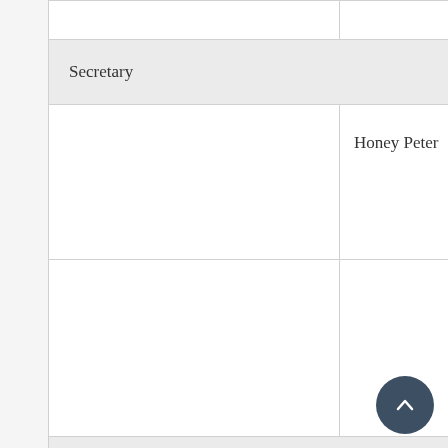|  |  |
| Secretary |  |
|  | Honey Peter |
|  |  |
| Secretary |  |
|  | Mesin T Thampi |
|  |  |
| Tresurer |  |